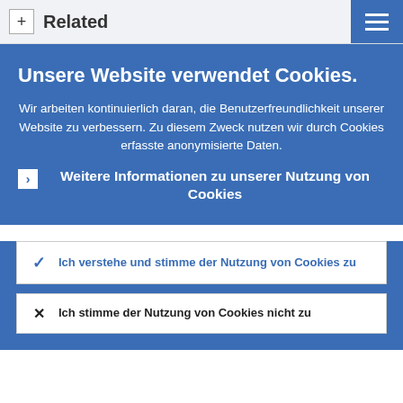+ Related
Unsere Website verwendet Cookies.
Wir arbeiten kontinuierlich daran, die Benutzerfreundlichkeit unserer Website zu verbessern. Zu diesem Zweck nutzen wir durch Cookies erfasste anonymisierte Daten.
Weitere Informationen zu unserer Nutzung von Cookies
Ich verstehe und stimme der Nutzung von Cookies zu
Ich stimme der Nutzung von Cookies nicht zu